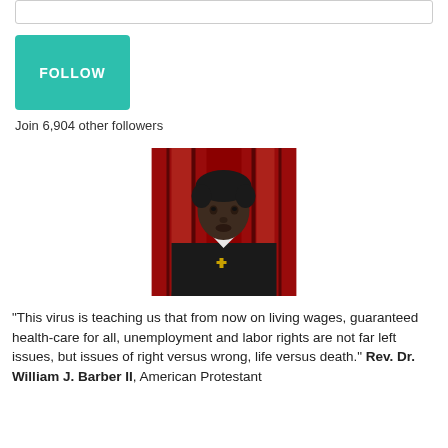[Figure (other): Empty input box with border, partially visible at top of page]
[Figure (other): Teal/green FOLLOW button]
Join 6,904 other followers
[Figure (photo): Portrait photo of a man in black ministerial robes with white collar, looking intensely at camera, against a red stained glass background]
“This virus is teaching us that from now on living wages, guaranteed health-care for all, unemployment and labor rights are not far left issues, but issues of right versus wrong, life versus death.” Rev. Dr. William J. Barber II, American Protestant